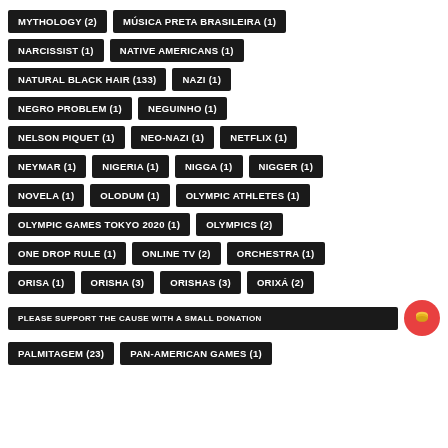MYTHOLOGY (2)
MÚSICA PRETA BRASILEIRA (1)
NARCISSIST (1)
NATIVE AMERICANS (1)
NATURAL BLACK HAIR (133)
NAZI (1)
NEGRO PROBLEM (1)
NEGUINHO (1)
NELSON PIQUET (1)
NEO-NAZI (1)
NETFLIX (1)
NEYMAR (1)
NIGERIA (1)
NIGGA (1)
NIGGER (1)
NOVELA (1)
OLODUM (1)
OLYMPIC ATHLETES (1)
OLYMPIC GAMES TOKYO 2020 (1)
OLYMPICS (2)
ONE DROP RULE (1)
ONLINE TV (2)
ORCHESTRA (1)
ORISA (1)
ORISHA (3)
ORISHAS (3)
ORIXÁ (2)
PLEASE SUPPORT THE CAUSE WITH A SMALL DONATION
PALMITAGEM (23)
PAN-AMERICAN GAMES (1)